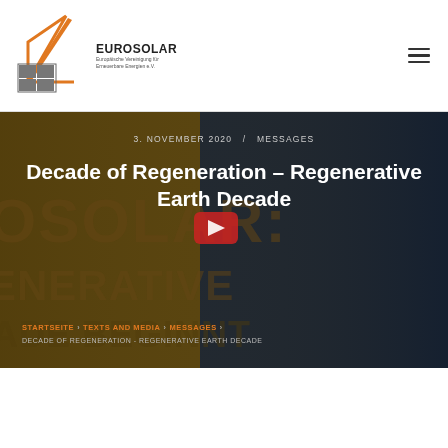[Figure (logo): Eurosolar logo with orange angular lines and text: EUROSOLAR, Europäische Vereinigung für Erneuerbare Energien e.V.]
3. NOVEMBER 2020 / MESSAGES
Decade of Regeneration – Regenerative Earth Decade
STARTSEITE › TEXTS AND MEDIA › MESSAGES › DECADE OF REGENERATION - REGENERATIVE EARTH DECADE